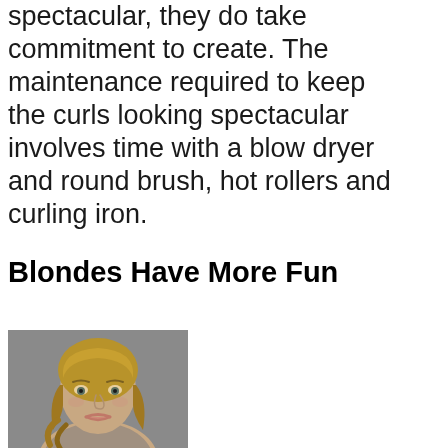spectacular, they do take commitment to create. The maintenance required to keep the curls looking spectacular involves time with a blow dryer and round brush, hot rollers and curling iron.
Blondes Have More Fun
[Figure (photo): Portrait photo of a blonde woman with curly hair, looking at the camera, photographed against a grey background.]